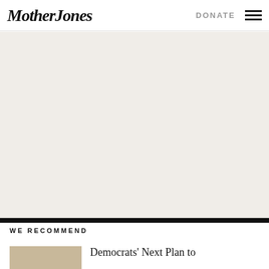Mother Jones | DONATE
[Figure (other): Large blank/off-white advertisement or image area below the navigation header]
WE RECOMMEND
[Figure (photo): Small thumbnail image for article]
Democrats' Next Plan to